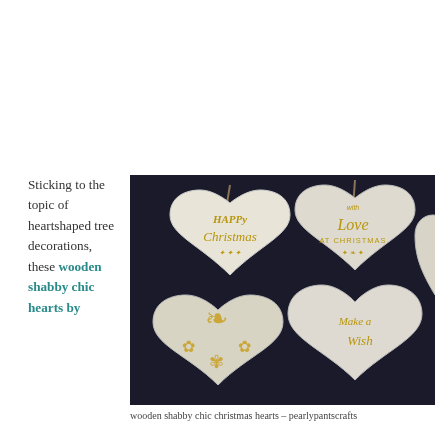Sticking to the topic of heartshaped tree decorations, these wooden shabby chic hearts by
[Figure (photo): Photograph of multiple white wooden heart-shaped Christmas ornaments with gold glitter text and patterns, hanging by jute twine on a dark background. Hearts read 'Happy Christmas', 'with Love AT CHRISTMAS', 'Make a Wish', and one with gold damask pattern.]
wooden shabby chic christmas hearts – pearlypantscrafts